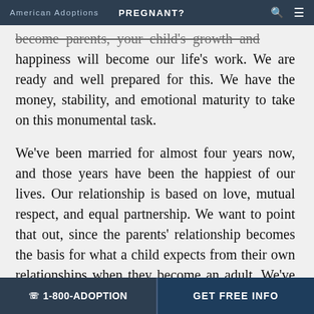American Adoptions   PREGNANT?
become parents, your child's growth and happiness will become our life's work. We are ready and well prepared for this. We have the money, stability, and emotional maturity to take on this monumental task.
We've been married for almost four years now, and those years have been the happiest of our lives. Our relationship is based on love, mutual respect, and equal partnership. We want to point that out, since the parents' relationship becomes the basis for what a child expects from their own relationships when they become an adult. We've both had shining examples of what a wonderful marriage looks
☎ 1-800-ADOPTION   GET FREE INFO